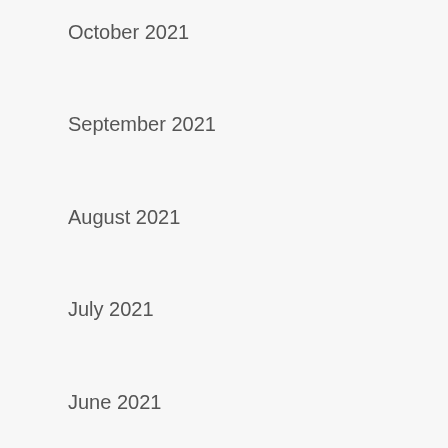October 2021
September 2021
August 2021
July 2021
June 2021
May 2021
April 2021
March 2021
November 2020
October 2020
September 2020
August 2020